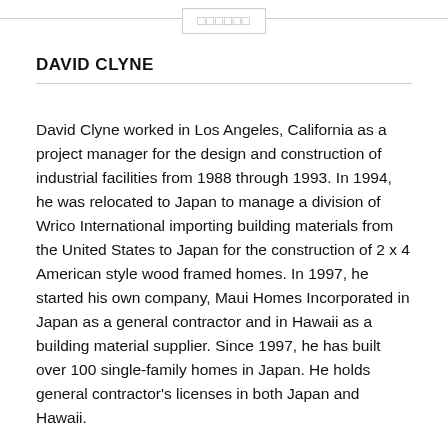□□□□□□
DAVID CLYNE
David Clyne worked in Los Angeles, California as a project manager for the design and construction of industrial facilities from 1988 through 1993. In 1994, he was relocated to Japan to manage a division of Wrico International importing building materials from the United States to Japan for the construction of 2 x 4 American style wood framed homes. In 1997, he started his own company, Maui Homes Incorporated in Japan as a general contractor and in Hawaii as a building material supplier. Since 1997, he has built over 100 single-family homes in Japan. He holds general contractor's licenses in both Japan and Hawaii.